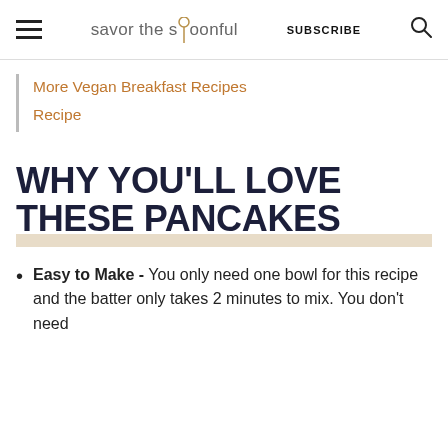savor the spoonful  SUBSCRIBE
More Vegan Breakfast Recipes Recipe
WHY YOU'LL LOVE THESE PANCAKES
Easy to Make - You only need one bowl for this recipe and the batter only takes 2 minutes to mix. You don't need